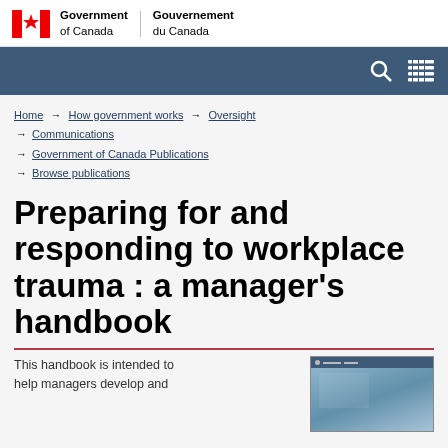Government of Canada / Gouvernement du Canada
[Figure (screenshot): Government of Canada navigation bar with search and menu icons]
Home → How government works → Oversight → Communications → Government of Canada Publications → Browse publications
Preparing for and responding to workplace trauma : a manager's handbook
This handbook is intended to help managers develop and
[Figure (photo): Thumbnail of a government publication cover]